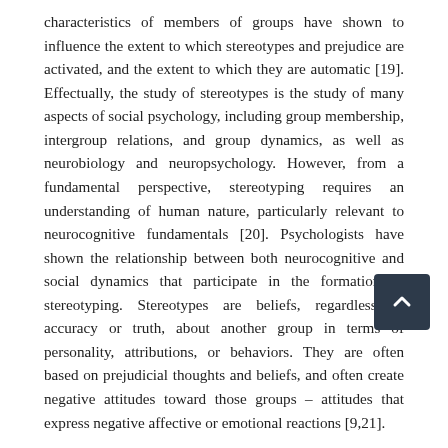characteristics of members of groups have shown to influence the extent to which stereotypes and prejudice are activated, and the extent to which they are automatic [19]. Effectually, the study of stereotypes is the study of many aspects of social psychology, including group membership, intergroup relations, and group dynamics, as well as neurobiology and neuropsychology. However, from a fundamental perspective, stereotyping requires an understanding of human nature, particularly relevant to neurocognitive fundamentals [20]. Psychologists have shown the relationship between both neurocognitive and social dynamics that participate in the formation of stereotyping. Stereotypes are beliefs, regardless of accuracy or truth, about another group in terms of personality, attributions, or behaviors. They are often based on prejudicial thoughts and beliefs, and often create negative attitudes toward those groups – attitudes that express negative affective or emotional reactions [9,21].
It is through a lack of knowledge or understanding that prejudices and stereotypes often form, and it is often through experiences with individuals or small samples that stereotypes are generated and inaccurately applied to entire groups. Unfortunately, these stereotypes can lead to learned reactions and behaviors that are unjustified, such as disparity and inequity in law enforcement and